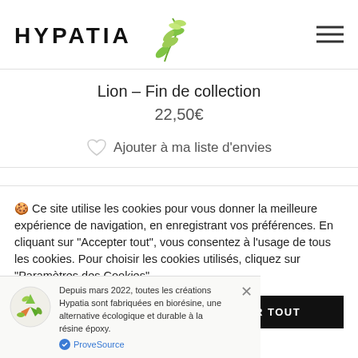HYPATIA
Lion – Fin de collection
22,50€
Ajouter à ma liste d'envies
🍪 Ce site utilise les cookies pour vous donner la meilleure expérience de navigation, en enregistrant vos préférences. En cliquant sur "Accepter tout", vous consentez à l'usage de tous les cookies. Pour choisir les cookies utilisés, cliquez sur "Paramètres des Cookies".
ACCEPTER TOUT
REFUSER TOUT
Depuis mars 2022, toutes les créations Hypatia sont fabriquées en biorésine, une alternative écologique et durable à la résine époxy.
ProveSource